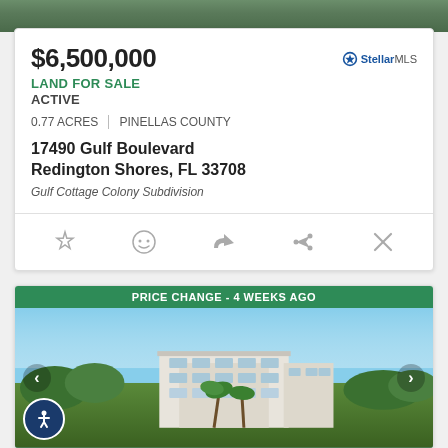[Figure (photo): Top portion of a property photo, partially visible at top of page]
$6,500,000
LAND FOR SALE
ACTIVE
0.77 ACRES | PINELLAS COUNTY
17490 Gulf Boulevard
Redington Shores, FL 33708
Gulf Cottage Colony Subdivision
[Figure (photo): Aerial photo of a white commercial/office building with palm trees, green banner at top reading PRICE CHANGE - 4 WEEKS AGO]